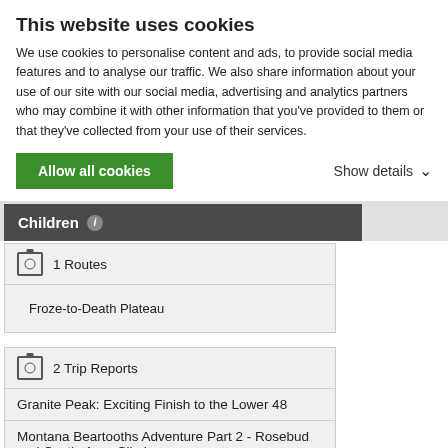This website uses cookies
We use cookies to personalise content and ads, to provide social media features and to analyse our traffic. We also share information about your use of our site with our social media, advertising and analytics partners who may combine it with other information that you've provided to them or that they've collected from your use of their services.
Allow all cookies
Show details
Children ℹ
1 Routes
Froze-to-Death Plateau
2 Trip Reports
Granite Peak: Exciting Finish to the Lower 48
Montana Beartooths Adventure Part 2 - Rosebud and Castle Area Climbs
1 Albums